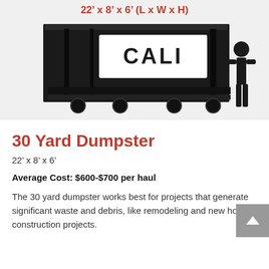[Figure (illustration): Diagram of a 30-yard dumpster labeled 'CALI' with dimensions 22' x 8' x 6' (L x W x H) shown in red at top, with a human silhouette for scale on the right side. Dumpster is black on a light gray background.]
30 Yard Dumpster
22' x 8' x 6'
Average Cost: $600-$700 per haul
The 30 yard dumpster works best for projects that generate significant waste and debris, like remodeling and new home construction projects.